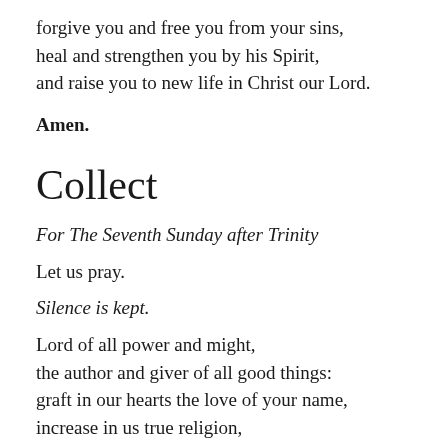forgive you and free you from your sins,
heal and strengthen you by his Spirit,
and raise you to new life in Christ our Lord.
Amen.
Collect
For The Seventh Sunday after Trinity
Let us pray.
Silence is kept.
Lord of all power and might,
the author and giver of all good things:
graft in our hearts the love of your name,
increase in us true religion,